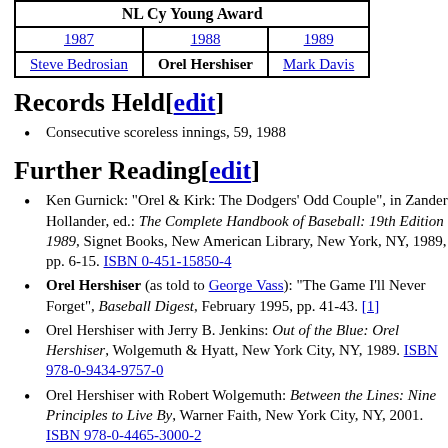| NL Cy Young Award |
| --- |
| 1987 | 1988 | 1989 |
| Steve Bedrosian | Orel Hershiser | Mark Davis |
Records Held[edit]
Consecutive scoreless innings, 59, 1988
Further Reading[edit]
Ken Gurnick: "Orel & Kirk: The Dodgers' Odd Couple", in Zander Hollander, ed.: The Complete Handbook of Baseball: 19th Edition 1989, Signet Books, New American Library, New York, NY, 1989, pp. 6-15. ISBN 0-451-15850-4
Orel Hershiser (as told to George Vass): "The Game I'll Never Forget", Baseball Digest, February 1995, pp. 41-43. [1]
Orel Hershiser with Jerry B. Jenkins: Out of the Blue: Orel Hershiser, Wolgemuth & Hyatt, New York City, NY, 1989. ISBN 978-0-9434-9757-0
Orel Hershiser with Robert Wolgemuth: Between the Lines: Nine Principles to Live By, Warner Faith, New York City, NY, 2001. ISBN 978-0-4465-3000-2